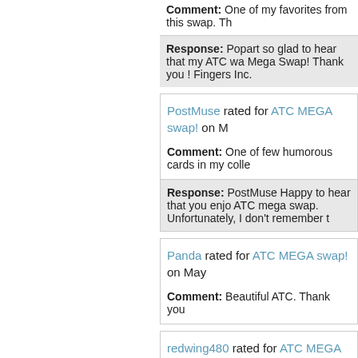Comment: One of my favorites from this swap. Th
Response: Popart so glad to hear that my ATC wa Mega Swap! Thank you ! Fingers Inc.
PostMuse rated for ATC MEGA swap! on M
Comment: One of few humorous cards in my colle
Response: PostMuse Happy to hear that you enjo ATC mega swap. Unfortunately, I don't remember t
Panda rated for ATC MEGA swap! on May
Comment: Beautiful ATC. Thank you
redwing480 rated for ATC MEGA swap! on